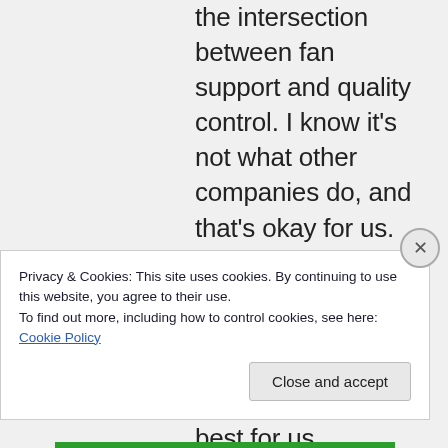the intersection between fan support and quality control. I know it's not what other companies do, and that's okay for us. Much of our success comes from taking creative risks and doing what seems best for us
Privacy & Cookies: This site uses cookies. By continuing to use this website, you agree to their use.
To find out more, including how to control cookies, see here: Cookie Policy
Close and accept